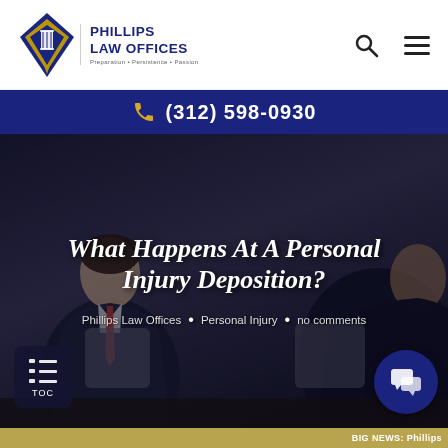[Figure (logo): Phillips Law Offices diamond-shaped logo with gold scales icon and blue diamond shape, with firm name and tagline]
(312) 598-0930
[Figure (photo): Two men in business suits sitting at a conference table in a law office setting, dark/moody lighting]
What Happens At A Personal Injury Deposition?
Phillips Law Offices • Personal Injury • no comments
TOC
BIG NEWS: Phillips